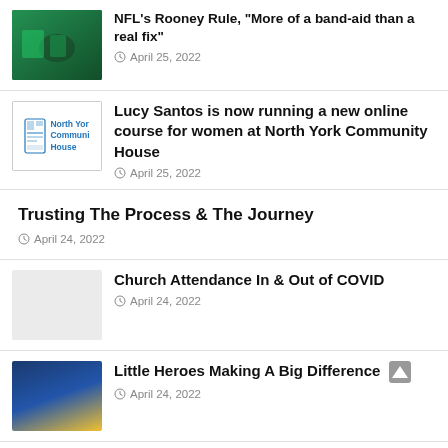NFL's Rooney Rule, "More of a band-aid than a real fix"
April 25, 2022
Lucy Santos is now running a new online course for women at North York Community House
April 25, 2022
Trusting The Process & The Journey
April 24, 2022
Church Attendance In & Out of COVID
April 24, 2022
Little Heroes Making A Big Difference
April 24, 2022